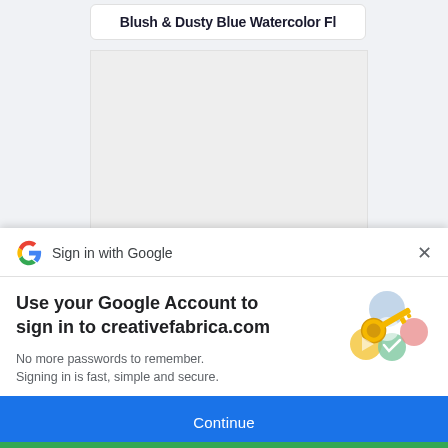Blush & Dusty Blue Watercolor Fl
[Figure (screenshot): Preview image placeholder area, light gray background]
Sign in with Google
Use your Google Account to sign in to creativefabrica.com
No more passwords to remember. Signing in is fast, simple and secure.
[Figure (illustration): Google key illustration with colorful circles and a gold key]
Continue